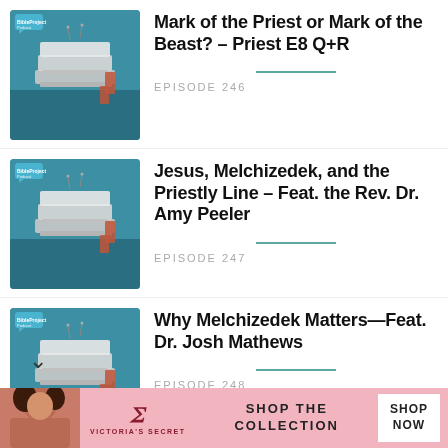[Figure (screenshot): BibleProject Podcast thumbnail showing layered book/building illustration with teal background]
Mark of the Priest or Mark of the Beast? – Priest E8 Q+R
EPISODE 246
[Figure (screenshot): BibleProject Podcast thumbnail showing layered book/building illustration with teal background]
Jesus, Melchizedek, and the Priestly Line – Feat. the Rev. Dr. Amy Peeler
EPISODE 247
[Figure (screenshot): BibleProject Podcast thumbnail showing layered book/building illustration with teal background]
Why Melchizedek Matters—Feat. Dr. Josh Mathews
EPISODE 248
[Figure (photo): Victoria's Secret advertisement banner with woman's photo, VS logo, and SHOP THE COLLECTION / SHOP NOW text]